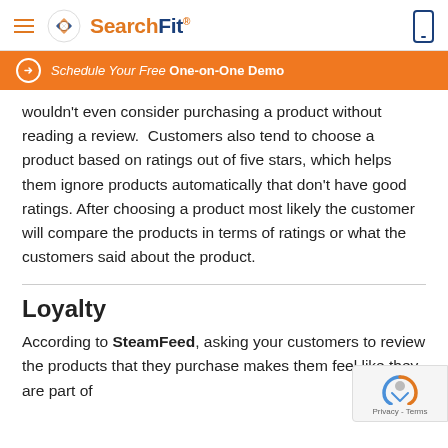SearchFit
Schedule Your Free One-on-One Demo
wouldn't even consider purchasing a product without reading a review. Customers also tend to choose a product based on ratings out of five stars, which helps them ignore products automatically that don't have good ratings. After choosing a product most likely the customer will compare the products in terms of ratings or what the customers said about the product.
Loyalty
According to SteamFeed, asking your customers to review the products that they purchase makes them feel like they are part of